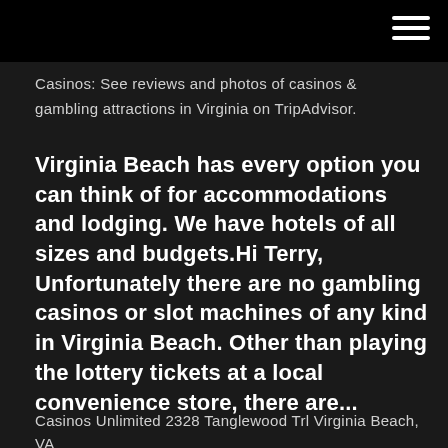Casinos: See reviews and photos of casinos & gambling attractions in Virginia on TripAdvisor.
Virginia Beach has every option you can think of for accommodations and lodging. We have hotels of all sizes and budgets.Hi Terry, Unfortunately there are no gambling casinos or slot machines of any kind in Virginia Beach. Other than playing the lottery tickets at a local convenience store, there are...
Casinos Unlimited 2328 Tanglewood Trl Virginia Beach, VA
...
Virginia Casino Bill D...